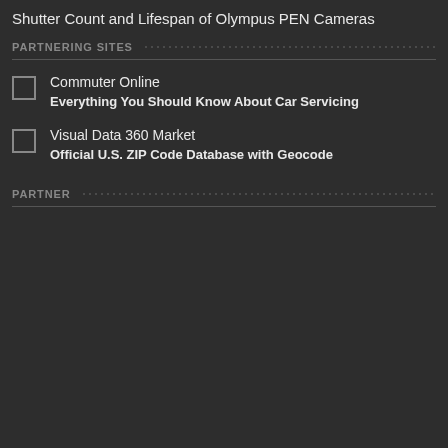Shutter Count and Lifespan of Olympus PEN Cameras
PARTNERING SITES
Commuter Online
Everything You Should Know About Car Servicing
Visual Data 360 Market
Official U.S. ZIP Code Database with Geocode
PARTNER